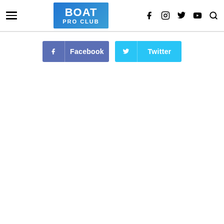BOAT PRO CLUB
[Figure (other): Facebook share button and Twitter share button side by side]